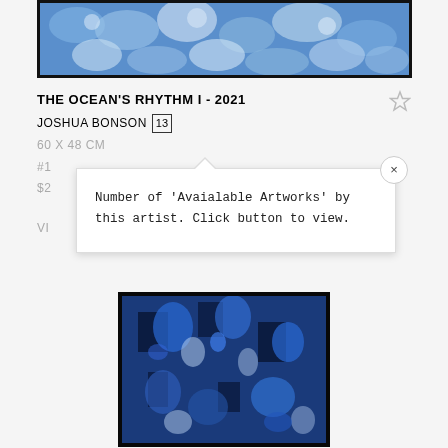[Figure (photo): Painting of ocean waves in blue and white tones in a black frame, top portion visible]
THE OCEAN'S RHYTHM I - 2021
JOSHUA BONSON 13
60 X 48 CM
#1
$2
VI
Number of 'Avaialable Artworks' by this artist. Click button to view.
[Figure (photo): Abstract painting with deep blue and white tones showing ocean-like patterns, in a black frame]